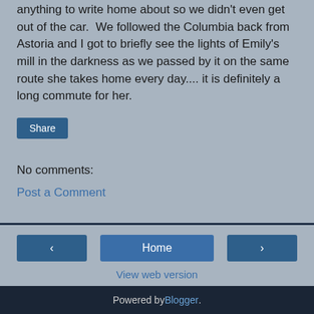anything to write home about so we didn't even get out of the car.  We followed the Columbia back from Astoria and I got to briefly see the lights of Emily's mill in the darkness as we passed by it on the same route she takes home every day.... it is definitely a long commute for her.
Share
No comments:
Post a Comment
Home
View web version
Powered by Blogger.